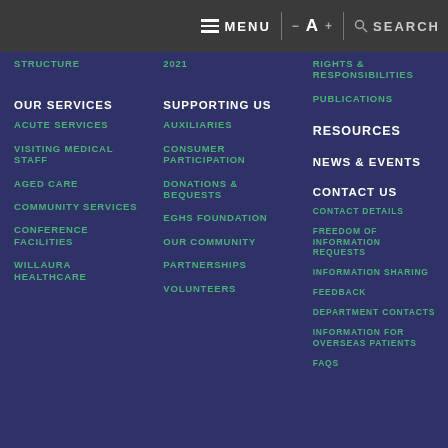MENU | - A + | SEARCH
STRUCTURE
2021
RIGHTS & RESPONSIBILITIES
PUBLICATIONS
OUR SERVICES
ACUTE SERVICES
VISITING MEDICAL STAFF
AGED CARE
COMMUNITY SERVICES
CONFERENCE FACILITIES
WILLAURA HEALTHCARE
SUPPORTING US
AUXILIARIES
CONSUMER PARTICIPATION
DONATIONS & BEQUESTS
EGHS FOUNDATION
OUR COMMUNITY
PARTNERSHIPS
VOLUNTEERS
RESOURCES
NEWS & EVENTS
CONTACT US
CONTACT DETAILS
FREEDOM OF INFORMATION REQUESTS
INFORMATION SHARING
FEEDBACK
DEPARTMENT CONTACTS
INFORMATION FOR OVERSEAS PATIENTS
FAQS